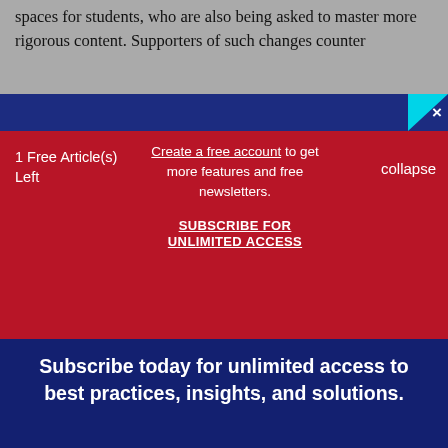spaces for students, who are also being asked to master more rigorous content. Supporters of such changes counter
1 Free Article(s) Left
Create a free account to get more features and free newsletters.
SUBSCRIBE FOR UNLIMITED ACCESS
collapse
Subscribe today for unlimited access to best practices, insights, and solutions.
SUBSCRIBE